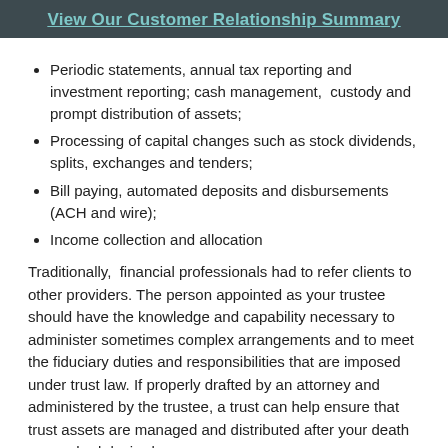View Our Customer Relationship Summary
Periodic statements, annual tax reporting and investment reporting; cash management, custody and prompt distribution of assets;
Processing of capital changes such as stock dividends, splits, exchanges and tenders;
Bill paying, automated deposits and disbursements (ACH and wire);
Income collection and allocation
Traditionally, financial professionals had to refer clients to other providers. The person appointed as your trustee should have the knowledge and capability necessary to administer sometimes complex arrangements and to meet the fiduciary duties and responsibilities that are imposed under trust law. If properly drafted by an attorney and administered by the trustee, a trust can help ensure that trust assets are managed and distributed after your death as you had desired.